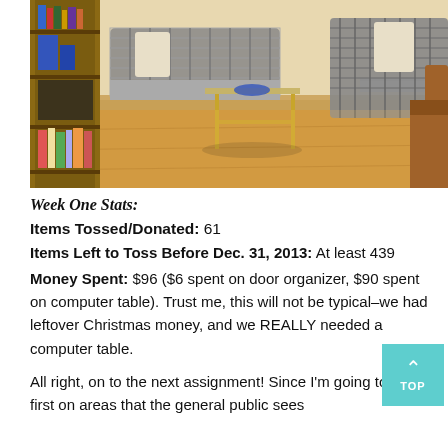[Figure (photo): Interior living room photo showing hardwood floors, plaid sofas/chairs, a bookshelf on the left with books and items, and a glass/gold side table in the foreground.]
Week One Stats:
Items Tossed/Donated: 61
Items Left to Toss Before Dec. 31, 2013: At least 439
Money Spent: $96 ($6 spent on door organizer, $90 spent on computer table). Trust me, this will not be typical–we had leftover Christmas money, and we REALLY needed a computer table.
All right, on to the next assignment! Since I'm going to focus first on areas that the general public sees